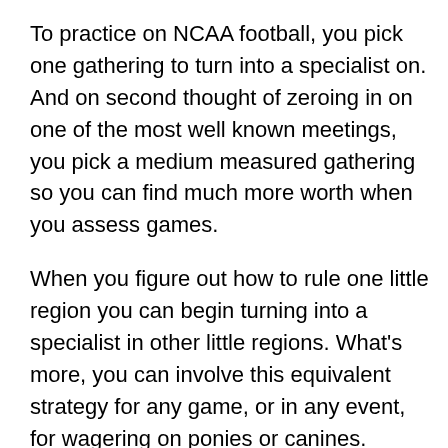To practice on NCAA football, you pick one gathering to turn into a specialist on. And on second thought of zeroing in on one of the most well known meetings, you pick a medium measured gathering so you can find much more worth when you assess games.
When you figure out how to rule one little region you can begin turning into a specialist in other little regions. What's more, you can involve this equivalent strategy for any game, or in any event, for wagering on ponies or canines.
Poker Specialization
Poker is one more great region to consider gaining